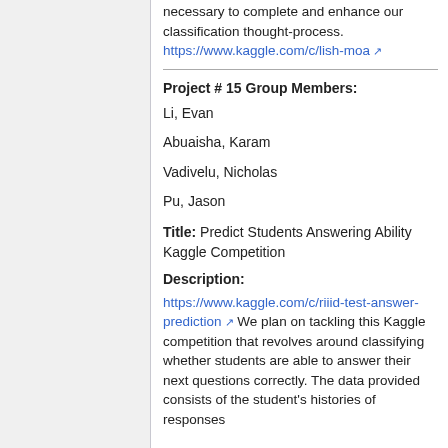necessary to complete and enhance our classification thought-process. https://www.kaggle.com/c/lish-moa
Project # 15 Group Members:
Li, Evan
Abuaisha, Karam
Vadivelu, Nicholas
Pu, Jason
Title: Predict Students Answering Ability Kaggle Competition
Description:
https://www.kaggle.com/c/riiid-test-answer-prediction We plan on tackling this Kaggle competition that revolves around classifying whether students are able to answer their next questions correctly. The data provided consists of the student's histories of responses...